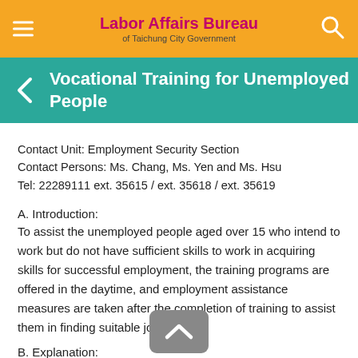Labor Affairs Bureau of Taichung City Government
Vocational Training for Unemployed People
Contact Unit: Employment Security Section
Contact Persons: Ms. Chang, Ms. Yen and Ms. Hsu
Tel: 22289111 ext. 35615 / ext. 35618 / ext. 35619
A. Introduction:
To assist the unemployed people aged over 15 who intend to work but do not have sufficient skills to work in acquiring skills for successful employment, the training programs are offered in the daytime, and employment assistance measures are taken after the completion of training to assist them in finding suitable jobs.
B. Explanation:
(A) Participants: Unemployed people aged over 15 who intend to